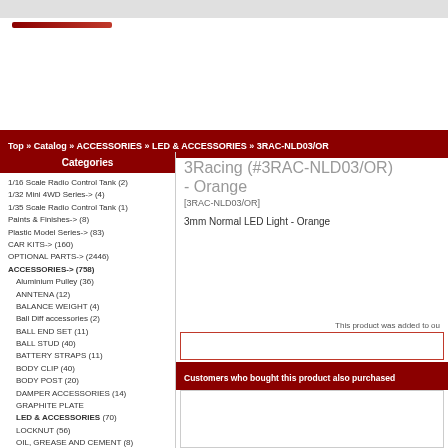Top » Catalog » ACCESSORIES » LED & ACCESSORIES » 3RAC-NLD03/OR
Categories
1/16 Scale Radio Control Tank (2)
1/32 Mini 4WD Series-> (4)
1/35 Scale Radio Control Tank (1)
Paints & Finishes-> (8)
Plastic Model Series-> (83)
CAR KITS-> (160)
OPTIONAL PARTS-> (2446)
ACCESSORIES-> (758)
Aluminium Pulley (36)
ANNTENA (12)
BALANCE WEIGHT (4)
Ball Diff accessories (2)
BALL END SET (11)
BALL STUD (40)
BATTERY STRAPS (11)
BODY CLIP (40)
BODY POST (20)
DAMPER ACCESSORIES (14)
GRAPHITE PLATE
LED & ACCESSORIES (70)
LOCKNUT (56)
OIL, GREASE AND CEMENT (8)
ON/OFF ROAD SIDE WING (14)
Paint (3)
PRESSURE CHAMBER
3Racing (#3RAC-NLD03/OR) - Orange
[3RAC-NLD03/OR]
3mm Normal LED Light - Orange
This product was added to ou
Customers who bought this product also purchased